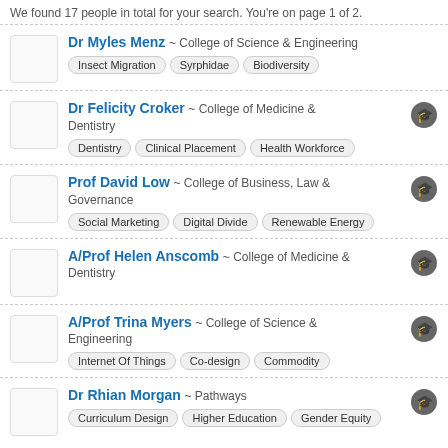We found 17 people in total for your search. You're on page 1 of 2.
Dr Myles Menz ~ College of Science & Engineering | Tags: Insect Migration, Syrphidae, Biodiversity
Dr Felicity Croker ~ College of Medicine & Dentistry | Tags: Dentistry, Clinical Placement, Health Workforce
Prof David Low ~ College of Business, Law & Governance | Tags: Social Marketing, Digital Divide, Renewable Energy
A/Prof Helen Anscomb ~ College of Medicine & Dentistry
A/Prof Trina Myers ~ College of Science & Engineering | Tags: Internet Of Things, Co-design, Commodity
Dr Rhian Morgan ~ Pathways | Tags: Curriculum Design, Higher Education, Gender Equity